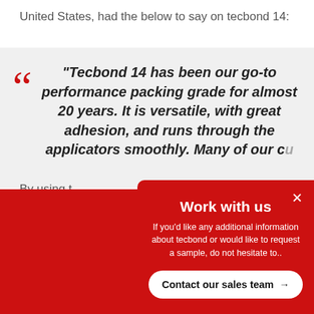United States, had the below to say on tecbond 14:
“Tecbond 14 has been our go-to performance packing grade for almost 20 years. It is versatile, with great adhesion, and runs through the applicators smoothly. Many of our cu
By using t
Work with us
If you’d like any additional information about tecbond or would like to request a sample, do not hesitate to..
Contact our sales team →